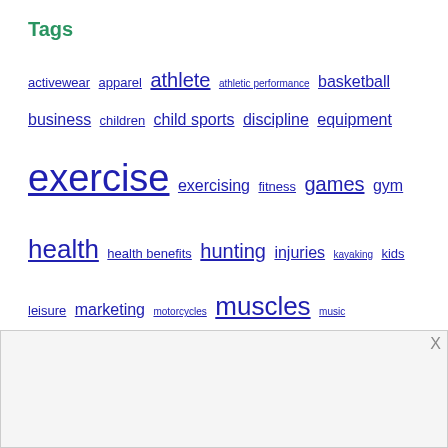Tags
activewear apparel athlete athletic performance basketball business children child sports discipline equipment exercise exercising fitness games gym health health benefits hunting injuries kayaking kids leisure marketing motorcycles muscles music physical activities physical activity playing poker racing recreation safety soccer sports Sports Club Sports Events sports injuries sports marketing sportswear stretching timed-speed events volleyball warmup
[Figure (other): Advertisement box with close button X]